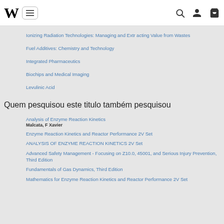W [logo] [menu] [search] [user] [cart]
Ionizing Radiation Technologies: Managing and Extr acting Value from Wastes
Fuel Additives: Chemistry and Technology
Integrated Pharmaceutics
Biochips and Medical Imaging
Levulinic Acid
Quem pesquisou este titulo também pesquisou
Analysis of Enzyme Reaction Kinetics
Malcata, F Xavier
Enzyme Reaction Kinetics and Reactor Performance 2V Set
ANALYSIS OF ENZYME REACTION KINETICS 2V Set
Advanced Safety Management - Focusing on Z10.0, 45001, and Serious Injury Prevention, Third Edition
Fundamentals of Gas Dynamics, Third Edition
Mathematics for Enzyme Reaction Kinetics and Reactor Performance 2V Set